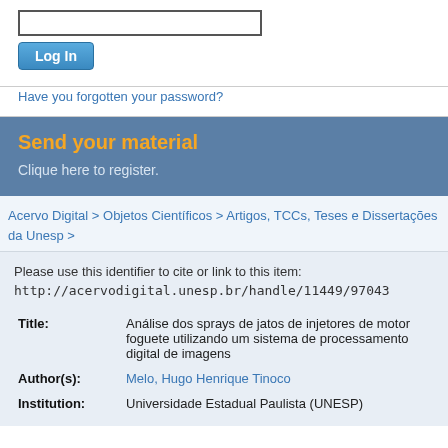[Figure (screenshot): Login form with text input box and Log In button]
Have you forgotten your password?
Send your material
Clique here to register.
Acervo Digital > Objetos Cientificos > Artigos, TCCs, Teses e Dissertações da Unesp >
Please use this identifier to cite or link to this item:
http://acervodigital.unesp.br/handle/11449/97043
| Title: | Análise dos sprays de jatos de injetores de motor foguete utilizando um sistema de processamento digital de imagens |
| Author(s): | Melo, Hugo Henrique Tinoco |
| Institution: | Universidade Estadual Paulista (UNESP) |